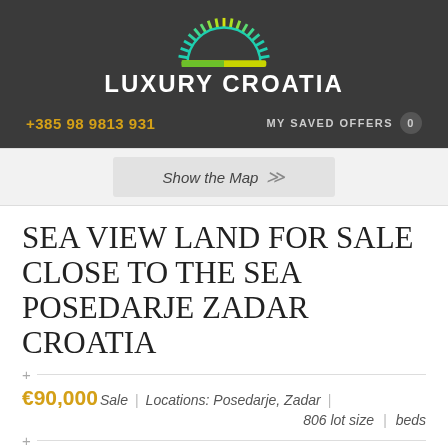[Figure (logo): Luxury Croatia logo — sunburst fan shape in teal/green/yellow gradient above a yellow/green horizontal bar, on dark background]
LUXURY CROATIA
+385 98 9813 931
MY SAVED OFFERS  0
Show the Map
SEA VIEW LAND FOR SALE CLOSE TO THE SEA POSEDARJE ZADAR CROATIA
€90,000 Sale | Locations: Posedarje, Zadar | 806 lot size | beds
click on image to